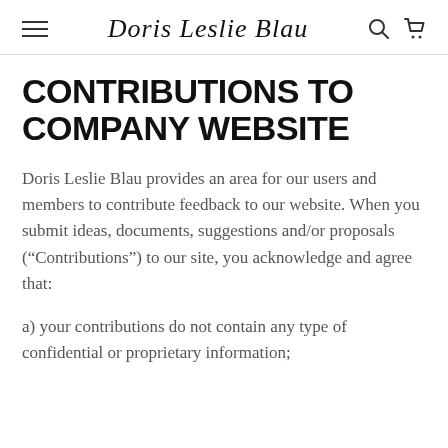Doris Leslie Blau
CONTRIBUTIONS TO COMPANY WEBSITE
Doris Leslie Blau provides an area for our users and members to contribute feedback to our website. When you submit ideas, documents, suggestions and/or proposals (“Contributions”) to our site, you acknowledge and agree that:
a) your contributions do not contain any type of confidential or proprietary information;